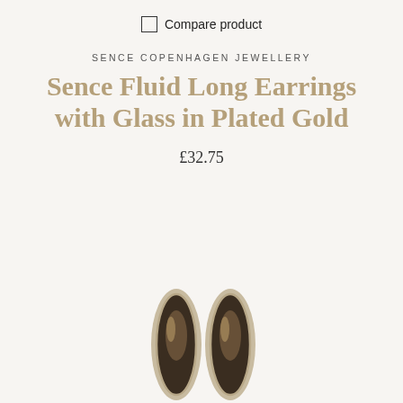Compare product
SENCE COPENHAGEN JEWELLERY
Sence Fluid Long Earrings with Glass in Plated Gold
£32.75
[Figure (photo): Two oval dark glass earrings in plated gold setting, photographed on a light background]